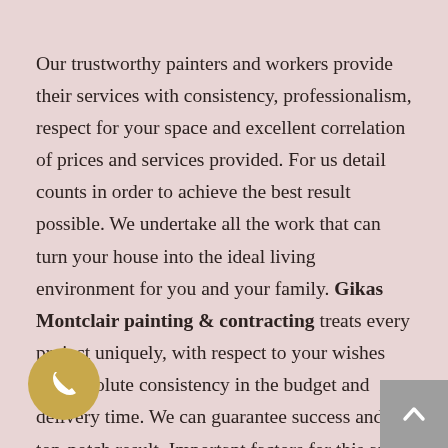Our trustworthy painters and workers provide their services with consistency, professionalism, respect for your space and excellent correlation of prices and services provided. For us detail counts in order to achieve the best result possible. We undertake all the work that can turn your house into the ideal living environment for you and your family. Gikas Montclair painting & contracting treats every project uniquely, with respect to your wishes and absolute consistency in the budget and delivery time. We can guarantee success and a top-notch result. Important factors for this are our flexibility and reliability that has been gained by implementing many projects in different fields. The high quality of our services ensures complete satisfaction...